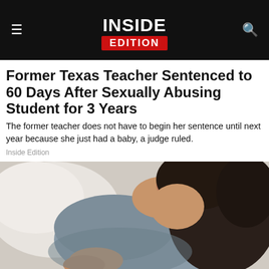Inside Edition
Former Texas Teacher Sentenced to 60 Days After Sexually Abusing Student for 3 Years
The former teacher does not have to begin her sentence until next year because she just had a baby, a judge ruled.
Inside Edition
[Figure (photo): Woman with dark hair lying on white bedding, wearing a grey tank top, photographed from above]